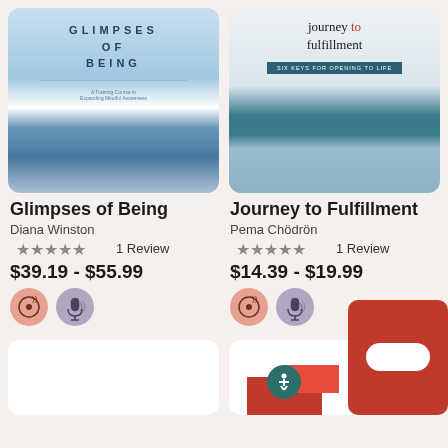[Figure (illustration): Book cover for Glimpses of Being by Diana Winston - blue mountain/water landscape design]
[Figure (illustration): Book cover for Journey to Fulfillment by Pema Chodron - swirling water/waves design with teal banner]
Glimpses of Being
Diana Winston
★★★★★ 1 Review
$39.19 - $55.99
Journey to Fulfillment
Pema Chödrön
★★★★★ 1 Review
$14.39 - $19.99
[Figure (illustration): Empty white card placeholder for next book]
[Figure (illustration): Partially visible book cover with red/crimson design, accessibility button overlay, and chat widget]